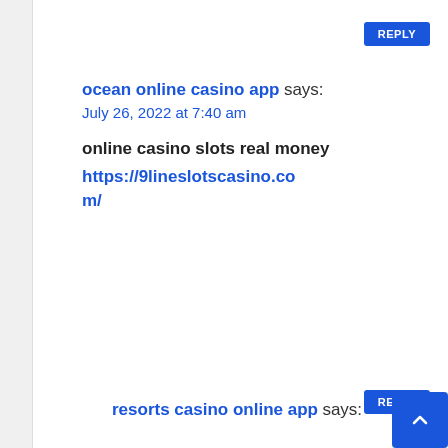REPLY
ocean online casino app says:
July 26, 2022 at 7:40 am
online casino slots real money https://9lineslotscasino.com/
REPLY
resorts casino online app says:
July 26, 2022 at 10:10 am